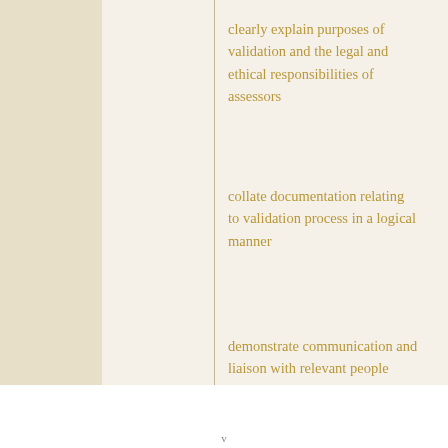clearly explain purposes of validation and the legal and ethical responsibilities of assessors
collate documentation relating to validation process in a logical manner
demonstrate communication and liaison with relevant people
v